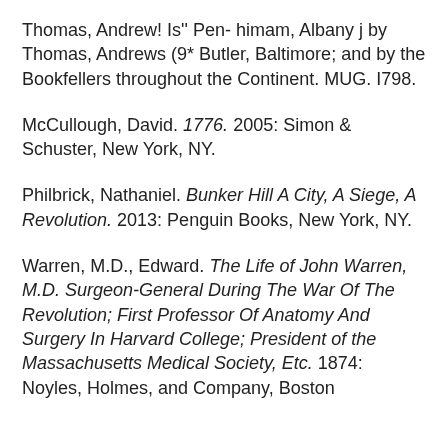Thomas, Andrew! Is'' Pen- himam, Albany j by Thomas, Andrews (9* Butler, Baltimore; and by the Bookfellers throughout the Continent. MUG. I798.
McCullough, David. 1776. 2005: Simon & Schuster, New York, NY.
Philbrick, Nathaniel. Bunker Hill A City, A Siege, A Revolution. 2013: Penguin Books, New York, NY.
Warren, M.D., Edward. The Life of John Warren, M.D. Surgeon-General During The War Of The Revolution; First Professor Of Anatomy And Surgery In Harvard College; President of the Massachusetts Medical Society, Etc. 1874: Noyles, Holmes, and Company, Boston